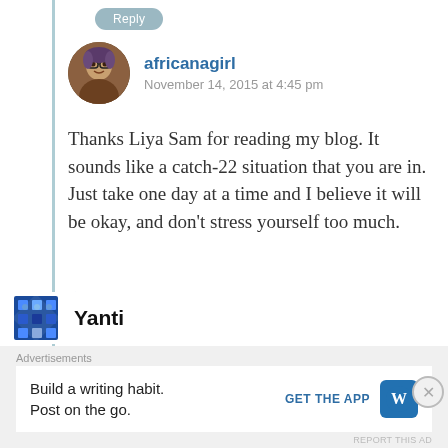Reply
africanagirl
November 14, 2015 at 4:45 pm
Thanks Liya Sam for reading my blog. It sounds like a catch-22 situation that you are in. Just take one day at a time and I believe it will be okay, and don't stress yourself too much.
Like
Reply
Yanti
Advertisements
Build a writing habit. Post on the go.
GET THE APP